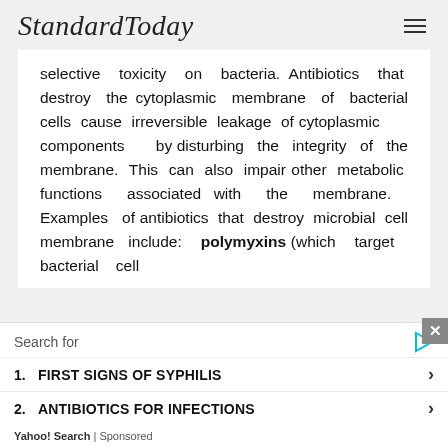StandardToday
selective toxicity on bacteria. Antibiotics that destroy the cytoplasmic membrane of bacterial cells cause irreversible leakage of cytoplasmic components by disturbing the integrity of the membrane. This can also impair other metabolic functions associated with the membrane. Examples of antibiotics that destroy microbial cell membrane include: polymyxins (which target bacterial cell
Search for
1. FIRST SIGNS OF SYPHILIS
2. ANTIBIOTICS FOR INFECTIONS
Yahoo! Search | Sponsored